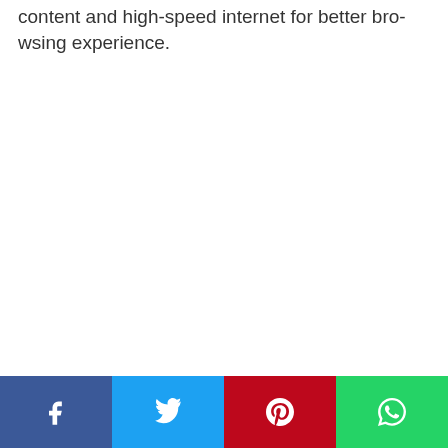content and high-speed internet for better browsing experience.
[Figure (other): Social share bar with four buttons: Facebook (blue), Twitter (light blue), Pinterest (red), WhatsApp (green), each with white icon]